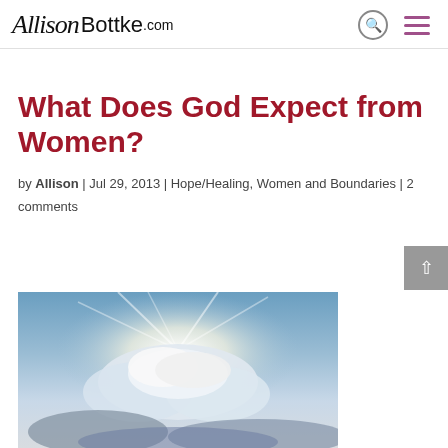Allison Bottke.com
What Does God Expect from Women?
by Allison | Jul 29, 2013 | Hope/Healing, Women and Boundaries | 2 comments
[Figure (photo): Sky with clouds and sunlight rays, viewed from below]